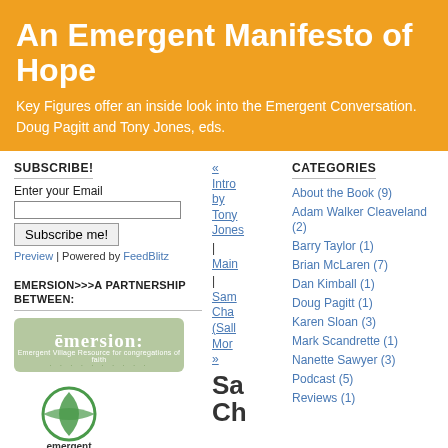An Emergent Manifesto of Hope
Key Figures offer an inside look into the Emergent Conversation. Doug Pagitt and Tony Jones, eds.
SUBSCRIBE!
Enter your Email
Preview | Powered by FeedBlitz
EMERSION>>>A PARTNERSHIP BETWEEN:
[Figure (logo): Emersion logo - green rounded rectangle with 'emersion:' text]
[Figure (logo): Emergent Village logo - green leaf/circle icon with 'emergent village' text]
« Intro by Tony Jones
| Main
| Sam Cha (Sall Mor »
Sa Ct
CATEGORIES
About the Book (9)
Adam Walker Cleaveland (2)
Barry Taylor (1)
Brian McLaren (7)
Dan Kimball (1)
Doug Pagitt (1)
Karen Sloan (3)
Mark Scandrette (1)
Nanette Sawyer (3)
Podcast (5)
Reviews (1)